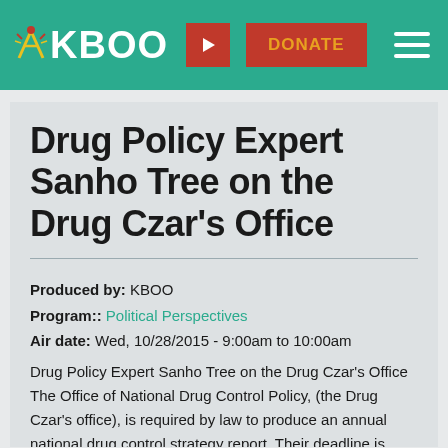KBOO | DONATE
Drug Policy Expert Sanho Tree on the Drug Czar’s Office
Produced by: KBOO
Program:: Political Perspectives
Air date: Wed, 10/28/2015 - 9:00am to 10:00am
Drug Policy Expert Sanho Tree on the Drug Czar's Office
The Office of National Drug Control Policy, (the Drug Czar's office), is required by law to produce an annual national drug control strategy report. Their deadline is supposed to be February 1st each year. The last annual